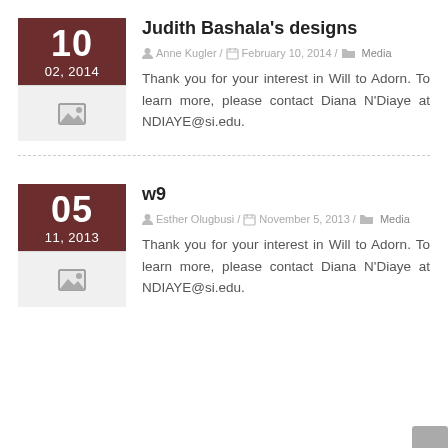Judith Bashala's designs
Anne Kugler / February 10, 2014 / Media
Thank you for your interest in Will to Adorn. To learn more, please contact Diana N'Diaye at NDIAYE@si.edu.
w9
Esther Olugbusi / November 5, 2013 / Media
Thank you for your interest in Will to Adorn. To learn more, please contact Diana N'Diaye at NDIAYE@si.edu.